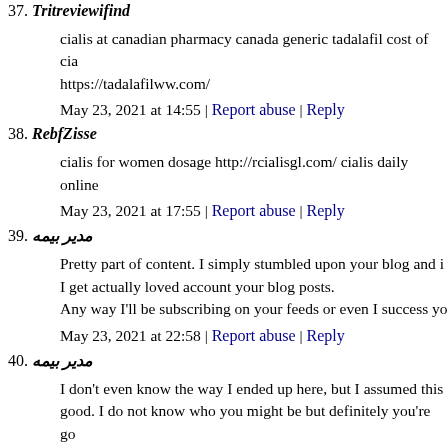37. Tritreviewifind
cialis at canadian pharmacy canada generic tadalafil cost of cia https://tadalafilww.com/
May 23, 2021 at 14:55 | Report abuse | Reply
38. RebfZisse
cialis for women dosage http://rcialisgl.com/ cialis daily online
May 23, 2021 at 17:55 | Report abuse | Reply
39. مدیر بیمه
Pretty part of content. I simply stumbled upon your blog and i I get actually loved account your blog posts. Any way I'll be subscribing on your feeds or even I success yo
May 23, 2021 at 22:58 | Report abuse | Reply
40. مدیر بیمه
I don't even know the way I ended up here, but I assumed this good. I do not know who you might be but definitely you're go event you are not already. Cheers!
May 23, 2021 at 23:07 | Report abuse | Reply